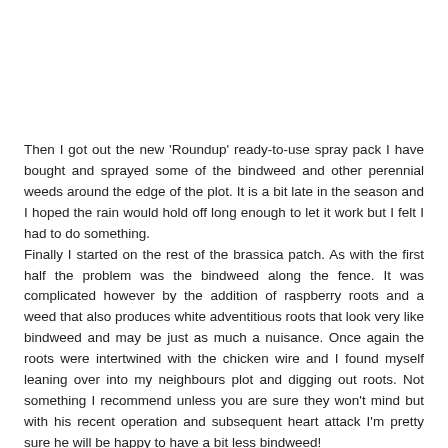Then I got out the new 'Roundup' ready-to-use spray pack I have bought and sprayed some of the bindweed and other perennial weeds around the edge of the plot. It is a bit late in the season and I hoped the rain would hold off long enough to let it work but I felt I had to do something.
Finally I started on the rest of the brassica patch. As with the first half the problem was the bindweed along the fence. It was complicated however by the addition of raspberry roots and a weed that also produces white adventitious roots that look very like bindweed and may be just as much a nuisance. Once again the roots were intertwined with the chicken wire and I found myself leaning over into my neighbours plot and digging out roots. Not something I recommend unless you are sure they won't mind but with his recent operation and subsequent heart attack I'm pretty sure he will be happy to have a bit less bindweed!